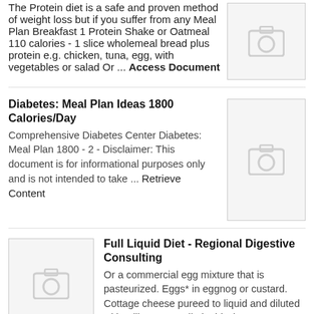The Protein diet is a safe and proven method of weight loss but if you suffer from any Meal Plan Breakfast 1 Protein Shake or Oatmeal 110 calories - 1 slice wholemeal bread plus protein e.g. chicken, tuna, egg, with vegetables or salad Or ... Access Document
[Figure (photo): Placeholder thumbnail with camera icon]
Diabetes: Meal Plan Ideas 1800 Calories/Day
Comprehensive Diabetes Center Diabetes: Meal Plan 1800 - 2 - Disclaimer: This document is for informational purposes only and is not intended to take ... Retrieve Content
[Figure (photo): Placeholder thumbnail with camera icon]
[Figure (photo): Placeholder thumbnail with camera icon]
Full Liquid Diet - Regional Digestive Consulting
Or a commercial egg mixture that is pasteurized. Eggs* in eggnog or custard. Cottage cheese pureed to liquid and diluted with milk. Meat, Full Liquid Diet –